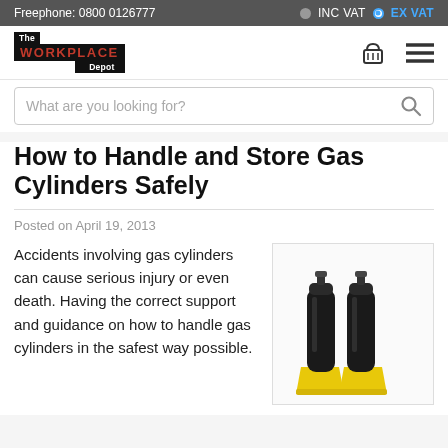Freephone: 0800 0126777 | INC VAT | EX VAT
[Figure (logo): The Workplace Depot logo - text logo with black background]
[Figure (other): Shopping basket and hamburger menu icons]
What are you looking for?
How to Handle and Store Gas Cylinders Safely
Posted on April 19, 2013
Accidents involving gas cylinders can cause serious injury or even death. Having the correct support and guidance on how to handle gas cylinders in the safest way possible.
[Figure (photo): Two black gas cylinders secured in a yellow cylinder storage stand]